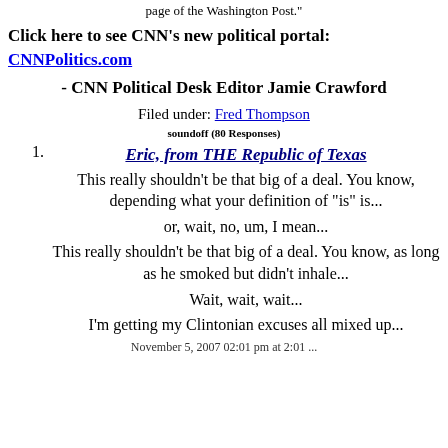page of the Washington Post."
Click here to see CNN's new political portal: CNNPolitics.com
- CNN Political Desk Editor Jamie Crawford
Filed under: Fred Thompson
soundoff (80 Responses)
1. Eric, from THE Republic of Texas
This really shouldn't be that big of a deal. You know, depending what your definition of "is" is...
or, wait, no, um, I mean...
This really shouldn't be that big of a deal. You know, as long as he smoked but didn't inhale...
Wait, wait, wait...
I'm getting my Clintonian excuses all mixed up...
November 5, 2007 02:01 pm at 2:01 ...